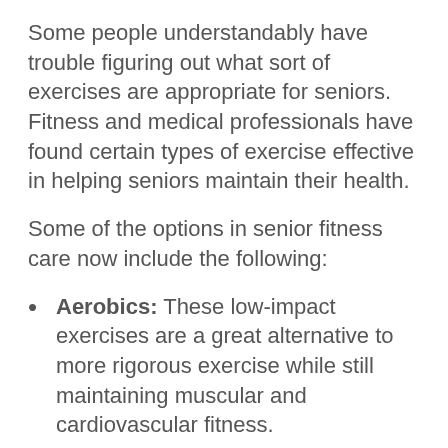Some people understandably have trouble figuring out what sort of exercises are appropriate for seniors. Fitness and medical professionals have found certain types of exercise effective in helping seniors maintain their health.
Some of the options in senior fitness care now include the following:
Aerobics: These low-impact exercises are a great alternative to more rigorous exercise while still maintaining muscular and cardiovascular fitness.
Tai Chi: The traditional Chinese practice utilizes gentle movements while emphasizing self-awareness and mental development. Tai Chi is an increasingly